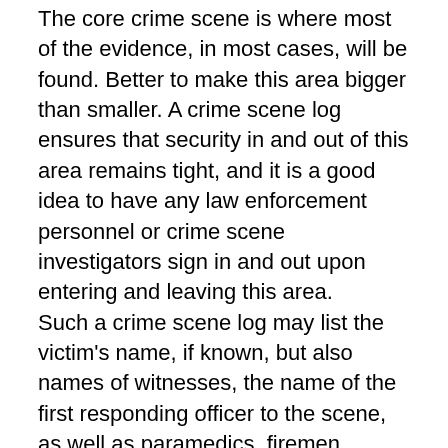The core crime scene is where most of the evidence, in most cases, will be found. Better to make this area bigger than smaller. A crime scene log ensures that security in and out of this area remains tight, and it is a good idea to have any law enforcement personnel or crime scene investigators sign in and out upon entering and leaving this area.
Such a crime scene log may list the victim's name, if known, but also names of witnesses, the name of the first responding officer to the scene, as well as paramedics, firemen, detectives and crime scene personnel. Following that, it may also list the arrival of supervisors, the coroner or even a prosecuting attorney or county district attorney. Names, times of arrival and departure and contact information allows a complete record of the time line of the ongoing investigation at the scene of the crime and can provide invaluable information as the investigation progresses.
Unfortunately, many crime scenes, by necessity, have only one barrier to separate the victim from the public.